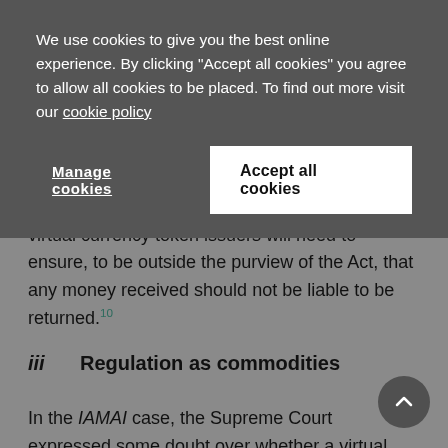We use cookies to give you the best online experience. By clicking "Accept all cookies" you agree to allow all cookies to be placed. To find out more visit our cookie policy
Manage cookies
Accept all cookies
virtual currency token issuers will need to ensure, to be outside the purview of the Act, that any money received should not be liable to be returned.10
iii   Regulation as commodities
In the IAMAI case, the Supreme Court expressed some doubt over whether a virtual currency could be classified only as a good or commodity. Ultimately, it held that a virtual